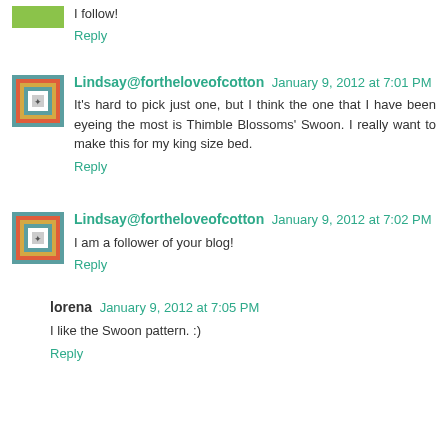I follow!
Reply
Lindsay@fortheloveofcotton January 9, 2012 at 7:01 PM
It's hard to pick just one, but I think the one that I have been eyeing the most is Thimble Blossoms' Swoon. I really want to make this for my king size bed.
Reply
Lindsay@fortheloveofcotton January 9, 2012 at 7:02 PM
I am a follower of your blog!
Reply
lorena January 9, 2012 at 7:05 PM
I like the Swoon pattern. :)
Reply